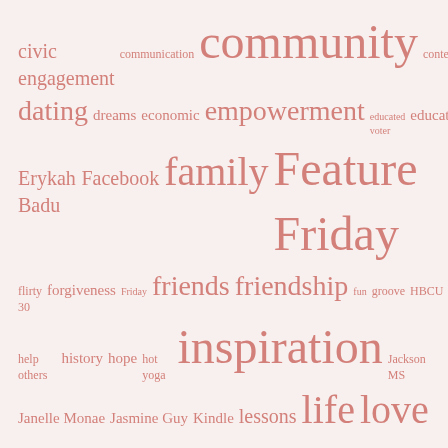[Figure (infographic): Word cloud featuring topics and themes in salmon/rose color on a light pink background. Words sized by frequency/importance. Topics include: civic engagement, communication, community, contest, dating, dreams, economic empowerment, educated voter, education, Erykah Badu, Facebook, family, Feature Friday, flirty 30, forgiveness, Friday, friends, friendship, fun, groove, HBCU, help others, history, hope, hot yoga, inspiration, Jackson MS, Janelle Monae, Jasmine Guy, Kindle, lessons, life, love, memories, Memory Lane Monday, mommy, motherhood, mothers, music, nerdy 30, New Orleans, overreacting, perspective, ponderings, positivity, prayer, quotes, random, reading, Reads and Reels, Reflections, Shirley Sherrod, stream of consciousness, support, Thanksgiving, Tougaloo, True Colors Theatre, Van Hunt, volunteer, vote, weekend.]